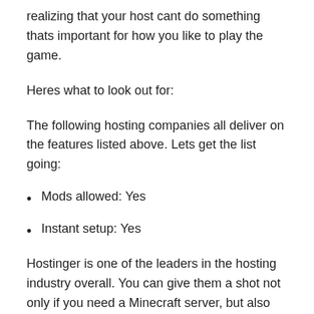realizing that your host cant do something thats important for how you like to play the game.
Heres what to look out for:
The following hosting companies all deliver on the features listed above. Lets get the list going:
Mods allowed: Yes
Instant setup: Yes
Hostinger is one of the leaders in the hosting industry overall. You can give them a shot not only if you need a Minecraft server, but also website hosting, email, cloud hosting,  dedicated servers , or  WordPress hosting .
Their Minecraft plans deliver on all the must-have features